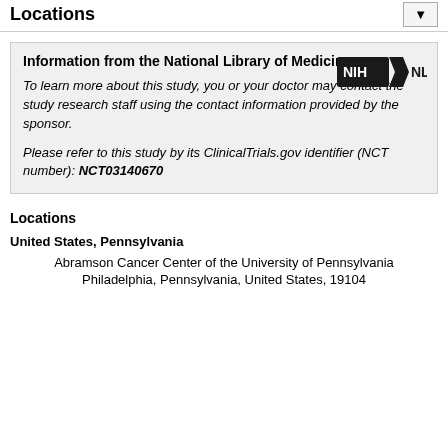Contacts and Locations
Information from the National Library of Medicine

To learn more about this study, you or your doctor may contact the study research staff using the contact information provided by the sponsor.

Please refer to this study by its ClinicalTrials.gov identifier (NCT number): NCT03140670
Locations
United States, Pennsylvania
Abramson Cancer Center of the University of Pennsylvania
Philadelphia, Pennsylvania, United States, 19104